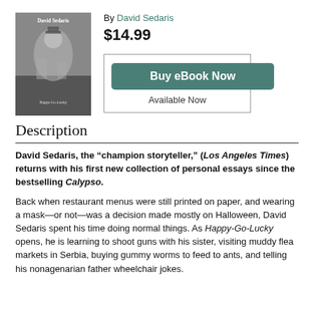[Figure (photo): Book cover of 'Happy-Go-Lucky' by David Sedaris — dark/grey background with vintage black-and-white photo of a clown with children]
By David Sedaris
$14.99
Buy eBook Now
Available Now
Description
David Sedaris, the “champion storyteller,” (Los Angeles Times) returns with his first new collection of personal essays since the bestselling Calypso.
Back when restaurant menus were still printed on paper, and wearing a mask—or not—was a decision made mostly on Halloween, David Sedaris spent his time doing normal things. As Happy-Go-Lucky opens, he is learning to shoot guns with his sister, visiting muddy flea markets in Serbia, buying gummy worms to feed to ants, and telling his nonagenarian father wheelchair jokes.